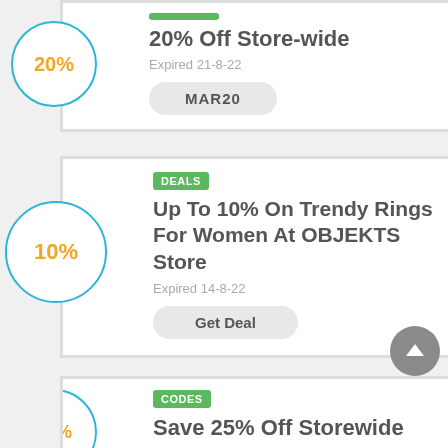[Figure (infographic): Coupon/deal listing card 1: 20% circle badge, CODES tag, '20% Off Store-wide', Expired 21-8-22, code button MAR20]
[Figure (infographic): Coupon/deal listing card 2: 10% circle badge, DEALS tag, 'Up To 10% On Trendy Rings For Women At OBJEKTS Store', Expired 14-8-22, Get Deal button]
[Figure (infographic): Coupon/deal listing card 3: partial circle badge with 25%+, CODES tag, 'Save 25% Off Storewide' (partially visible)]